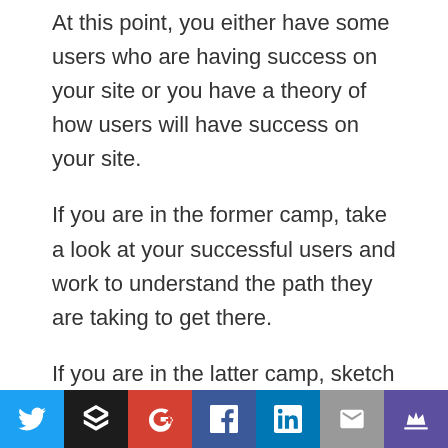At this point, you either have some users who are having success on your site or you have a theory of how users will have success on your site.
If you are in the former camp, take a look at your successful users and work to understand the path they are taking to get there.
If you are in the latter camp, sketch it out on paper. What do you think they will do to get there?
For example, If I'm Craigslist, my success funnel might look like this:
[Figure (other): Social sharing bar with icons for Twitter, Buffer, Google+, Facebook, LinkedIn, Email, and a crown/king icon]